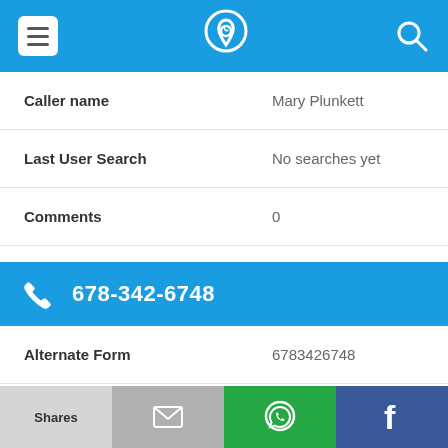App navigation bar with menu, phone/location icon, and search icon
| Label | Value |
| --- | --- |
| Caller name | Mary Plunkett |
| Last User Search | No searches yet |
| Comments | 0 |
678-342-6748
| Label | Value |
| --- | --- |
| Alternate Form | 6783426748 |
| Caller name | D. Maynard |
Shares | [mail icon] | [WhatsApp icon] | [Facebook icon]